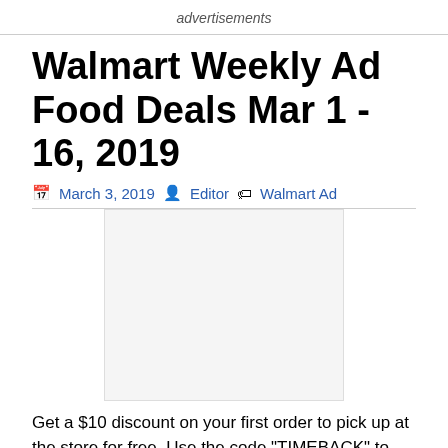advertisements
Walmart Weekly Ad Food Deals Mar 1 - 16, 2019
March 3, 2019  Editor  Walmart Ad
[Figure (other): Advertisement image placeholder (gray box)]
Get a $10 discount on your first order to pick up at the store for free. Use the code "TIMEBACK" to get the discount. Walmart Weekly Ad Food Deals